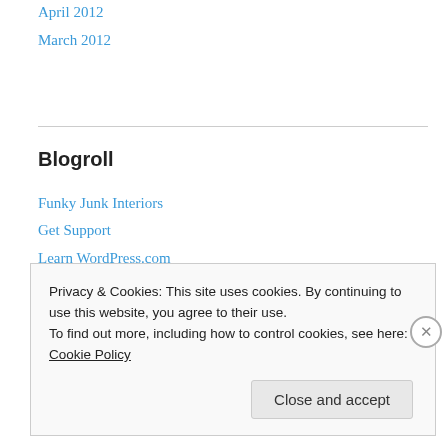April 2012
March 2012
Blogroll
Funky Junk Interiors
Get Support
Learn WordPress.com
Miss Mustard Seed
Red Hen Home
Theme Showcase
WordPress Planet
Privacy & Cookies: This site uses cookies. By continuing to use this website, you agree to their use.
To find out more, including how to control cookies, see here: Cookie Policy